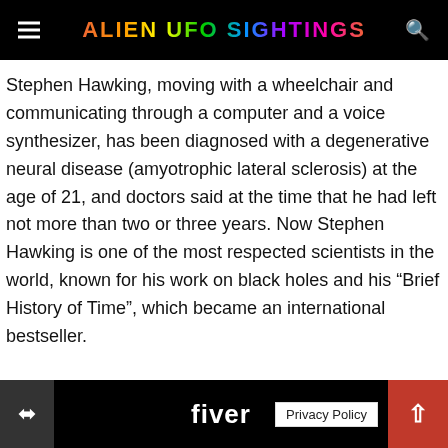ALIEN UFO SIGHTINGS
Stephen Hawking, moving with a wheelchair and communicating through a computer and a voice synthesizer, has been diagnosed with a degenerative neural disease (amyotrophic lateral sclerosis) at the age of 21, and doctors said at the time that he had left not more than two or three years. Now Stephen Hawking is one of the most respected scientists in the world, known for his work on black holes and his “Brief History of Time”, which became an international bestseller.
fiverr | Privacy Policy